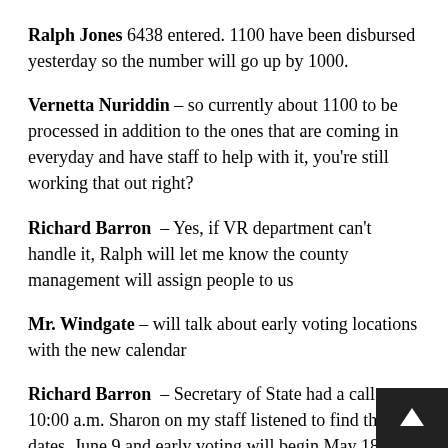Ralph Jones 6438 entered. 1100 have been disbursed yesterday so the number will go up by 1000.
Vernetta Nuriddin – so currently about 1100 to be processed in addition to the ones that are coming in everyday and have staff to help with it, you're still working that out right?
Richard Barron – Yes, if VR department can't handle it, Ralph will let me know the county management will assign people to us
Mr. Windgate – will talk about early voting locations with the new calendar
Richard Barron – Secretary of State had a call at 10:00 a.m. Sharon on my staff listened to find the new dates. June 9 and early voting will begin May 18 and run